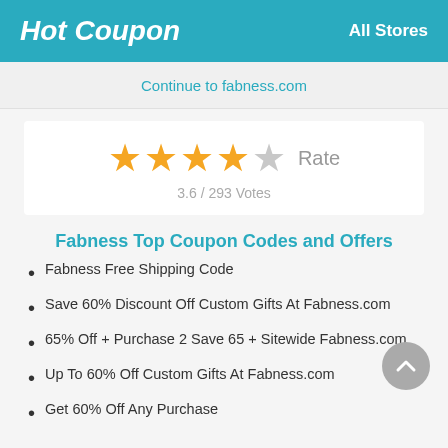Hot Coupon   All Stores
Continue to fabness.com
[Figure (other): Star rating display: 4 filled stars and 1 empty star, labeled 'Rate'. Rating: 3.6 / 293 Votes]
Fabness Top Coupon Codes and Offers
Fabness Free Shipping Code
Save 60% Discount Off Custom Gifts At Fabness.com
65% Off + Purchase 2 Save 65 + Sitewide Fabness.com
Up To 60% Off Custom Gifts At Fabness.com
Get 60% Off Any Purchase